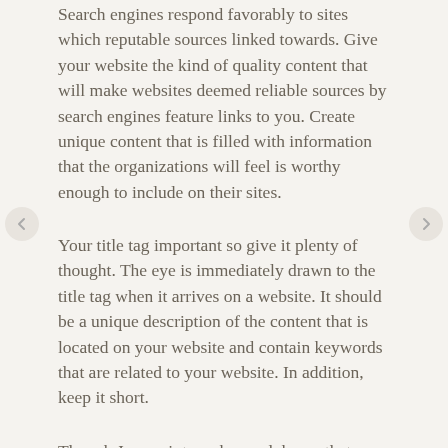Search engines respond favorably to sites which reputable sources linked towards. Give your website the kind of quality content that will make websites deemed reliable sources by search engines feature links to you. Create unique content that is filled with information that the organizations will feel is worthy enough to include on their sites.
Your title tag important so give it plenty of thought. The eye is immediately drawn to the title tag when it arrives on a website. It should be a unique description of the content that is located on your website and contain keywords that are related to your website. In addition, keep it short.
Though Javascript can be used, know that certain search engines don't respond to it very well. Use of Java is something a website owner must decide whether or not to do, but it is important to note that search engines